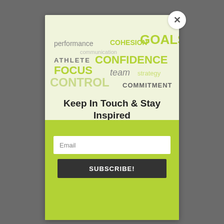[Figure (infographic): Word cloud with sports psychology terms: performance, COHESION, GOALS, communication, ATHLETE, CONFIDENCE, FOCUS, team, strategy, CONTROL, COMMITMENT in various sizes and green/gray colors]
Keep In Touch & Stay Inspired
Sign Up For Tips & Tools
Email
SUBSCRIBE!